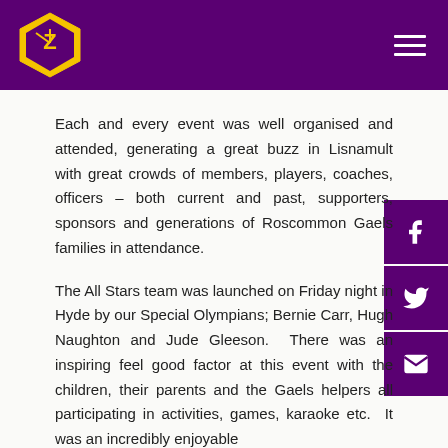Roscommon Gaels GAA Club navigation header
Each and every event was well organised and attended, generating a great buzz in Lisnamult with great crowds of members, players, coaches, officers – both current and past, supporters, sponsors and generations of Roscommon Gaels families in attendance.
The All Stars team was launched on Friday night in Hyde by our Special Olympians; Bernie Carr, Hugh Naughton and Jude Gleeson.  There was an inspiring feel good factor at this event with the children, their parents and the Gaels helpers all participating in activities, games, karaoke etc.  It was an incredibly enjoyable